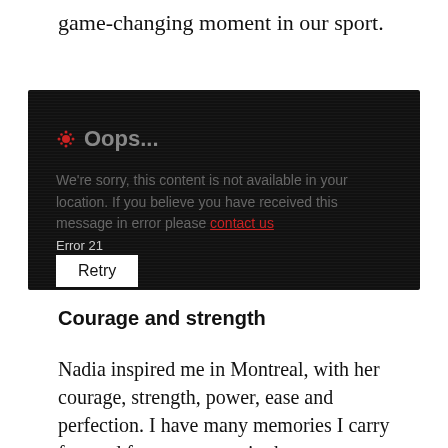game-changing moment in our sport.
[Figure (screenshot): CBC error screen on dark background showing 'Oops...' message: 'We're sorry, this content is not available in your location. If you believe you have received this message in error please contact us.' Error 21, Retry button.]
Courage and strength
Nadia inspired me in Montreal, with her courage, strength, power, ease and perfection. I have many memories I carry forward from my years in the